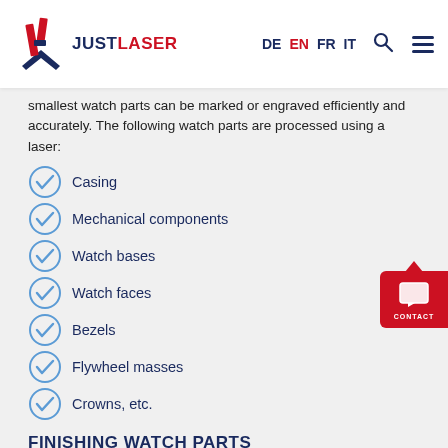JUSTLASER — DE EN FR IT
smallest watch parts can be marked or engraved efficiently and accurately. The following watch parts are processed using a laser:
Casing
Mechanical components
Watch bases
Watch faces
Bezels
Flywheel masses
Crowns, etc.
FINISHING WATCH PARTS
When marking watch parts with a laser, you can personalise the valuable pieces according to your wishes. Whether it's logos,